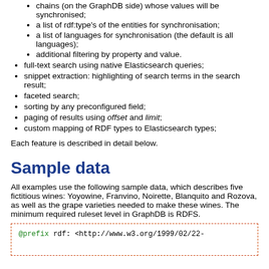a list of rdf:type's of the entities for synchronisation;
a list of languages for synchronisation (the default is all languages);
additional filtering by property and value.
full-text search using native Elasticsearch queries;
snippet extraction: highlighting of search terms in the search result;
faceted search;
sorting by any preconfigured field;
paging of results using offset and limit;
custom mapping of RDF types to Elasticsearch types;
Each feature is described in detail below.
Sample data
All examples use the following sample data, which describes five fictitious wines: Yoyowine, Franvino, Noirette, Blanquito and Rozova, as well as the grape varieties needed to make these wines. The minimum required ruleset level in GraphDB is RDFS.
[Figure (screenshot): Code box with dashed orange border showing: @prefix rdf: <http://www.w3.org/1999/02/22-]